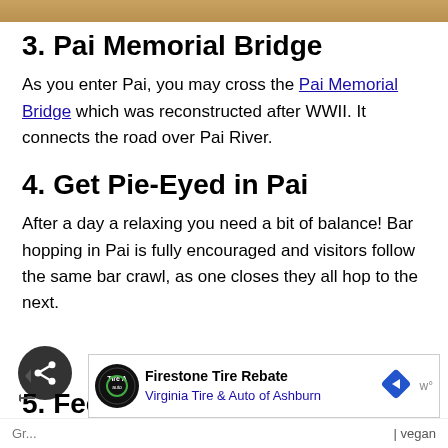[Figure (photo): Top strip image showing a landscape or natural scene]
3. Pai Memorial Bridge
As you enter Pai, you may cross the Pai Memorial Bridge which was reconstructed after WWII. It connects the road over Pai River.
4. Get Pie-Eyed in Pai
After a day a relaxing you need a bit of balance! Bar hopping in Pai is fully encouraged and visitors follow the same bar crawl, as one closes they all hop to the next.
5. Feed the Hangover
[Figure (screenshot): Advertisement for Firestone Tire Rebate — Virginia Tire & Auto of Ashburn]